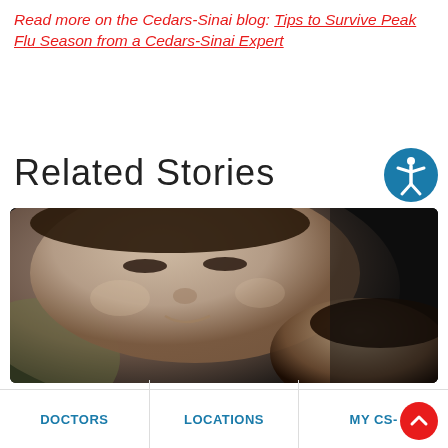Read more on the Cedars-Sinai blog: Tips to Survive Peak Flu Season from a Cedars-Sinai Expert
Related Stories
[Figure (photo): Black and white photo of a mother with eyes closed, cheek-to-cheek with a newborn baby]
DOCTORS | LOCATIONS | MY CS-